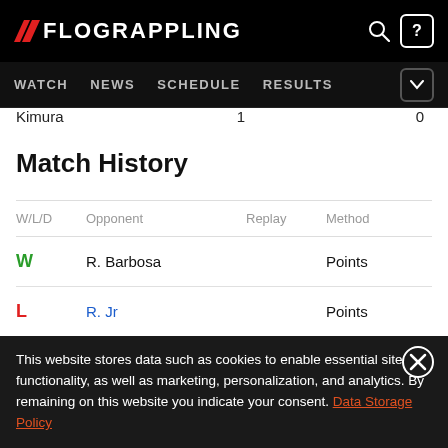FLOGRAPPLING — WATCH NEWS SCHEDULE RESULTS
Kimura  1  0
Match History
| W/L/D | Opponent | Replay | Method |
| --- | --- | --- | --- |
| W | R. Barbosa |  | Points |
| L | R. Jr |  | Points |
This website stores data such as cookies to enable essential site functionality, as well as marketing, personalization, and analytics. By remaining on this website you indicate your consent. Data Storage Policy